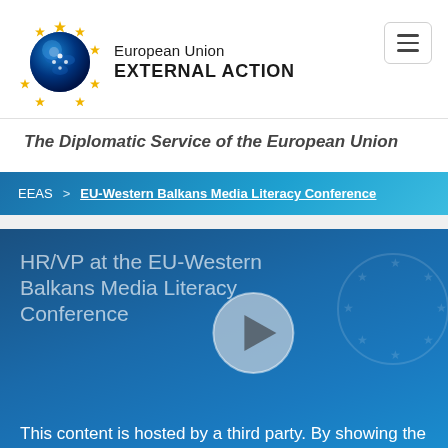[Figure (logo): European Union External Action logo: blue globe with EU stars and world map, next to text 'European Union EXTERNAL ACTION']
The Diplomatic Service of the European Union
EEAS > EU-Western Balkans Media Literacy Conference
HR/VP at the EU-Western Balkans Media Literacy Conference
This content is hosted by a third party. By showing the external content you accept the terms and conditions of use.